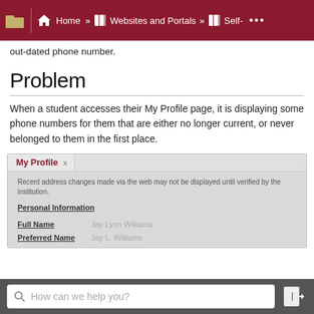Home » Websites and Portals » Self-
out-dated phone number.
Problem
When a student accesses their My Profile page, it is displaying some phone numbers for them that are either no longer current, or never belonged to them in the first place.
[Figure (screenshot): Screenshot of a university portal 'My Profile' page showing Personal Information section with Full Name field showing blurred name 'Jay Lynn Williams' and Preferred Name showing blurred 'Jay L. Williams'. A notice reads: Recent address changes made via the web may not be displayed until verified by the institution.]
How can we help you?